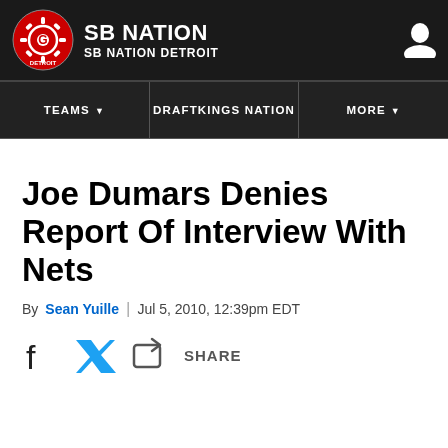SB NATION — SB NATION DETROIT
Joe Dumars Denies Report Of Interview With Nets
By Sean Yuille | Jul 5, 2010, 12:39pm EDT
SHARE